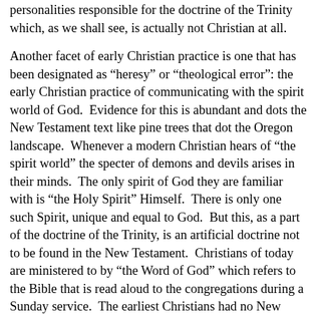personalities responsible for the doctrine of the Trinity which, as we shall see, is actually not Christian at all.
Another facet of early Christian practice is one that has been designated as “heresy” or “theological error”: the early Christian practice of communicating with the spirit world of God.  Evidence for this is abundant and dots the New Testament text like pine trees that dot the Oregon landscape.  Whenever a modern Christian hears of “the spirit world” the specter of demons and devils arises in their minds.  The only spirit of God they are familiar with is “the Holy Spirit” Himself.  There is only one such Spirit, unique and equal to God.  But this, as a part of the doctrine of the Trinity, is an artificial doctrine not to be found in the New Testament.  Christians of today are ministered to by “the Word of God” which refers to the Bible that is read aloud to the congregations during a Sunday service.  The earliest Christians had no New Testament book.  They received the Word of God directly from God Himself just as the authors of both the Old and New Testament texts describe.  The true Word of God is Christ Himself (John 1:1), and God’s Word is His Christ who sends us His holy spirits to communicate